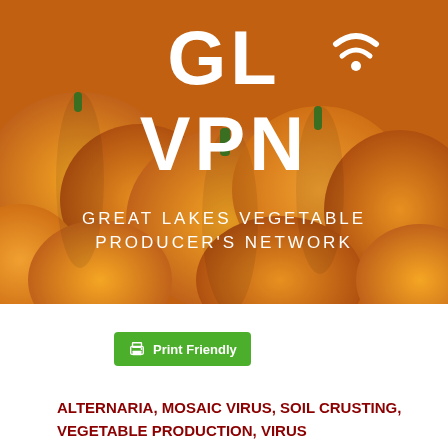[Figure (logo): Great Lakes Vegetable Producer's Network logo with orange pumpkins background, white text GL VPN and subtitle GREAT LAKES VEGETABLE PRODUCER'S NETWORK]
Print Friendly
ALTERNARIA, MOSAIC VIRUS, SOIL CRUSTING, VEGETABLE PRODUCTION, VIRUS
SHARE
Comments
To leave a comment, click the button below